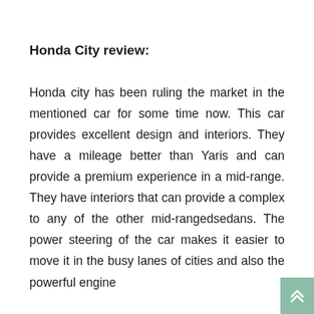Honda City review:
Honda city has been ruling the market in the mentioned car for some time now. This car provides excellent design and interiors. They have a mileage better than Yaris and can provide a premium experience in a mid-range. They have interiors that can provide a complex to any of the other mid-rangedsedans. The power steering of the car makes it easier to move it in the busy lanes of cities and also the powerful engine